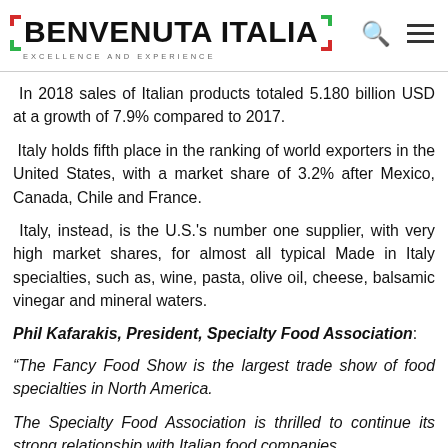BENVENUTA ITALIA — EXCELLENCE AND EXPERIENCE
In 2018 sales of Italian products totaled 5.180 billion USD at a growth of 7.9% compared to 2017.
Italy holds fifth place in the ranking of world exporters in the United States, with a market share of 3.2% after Mexico, Canada, Chile and France.
Italy, instead, is the U.S.'s number one supplier, with very high market shares, for almost all typical Made in Italy specialties, such as, wine, pasta, olive oil, cheese, balsamic vinegar and mineral waters.
Phil Kafarakis, President, Specialty Food Association:
“The Fancy Food Show is the largest trade show of food specialties in North America.
The Specialty Food Association is thrilled to continue its strong relationship with Italian food companies